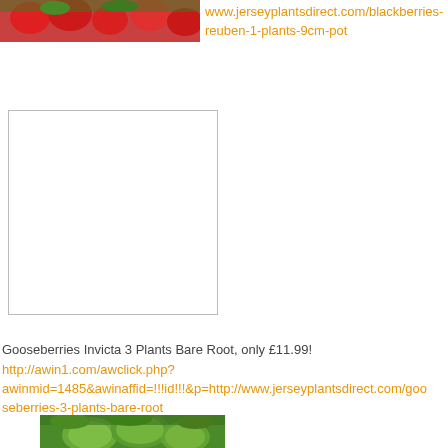[Figure (photo): Photo of red berries/strawberries with green leaves, cropped at top of page]
www.jerseyplantsdirect.com/blackberries-reuben-1-plants-9cm-pot
[Figure (other): White rectangle with gray border, placeholder image]
Gooseberries Invicta 3 Plants Bare Root, only £11.99!
http://awin1.com/awclick.php?awinmid=1485&awinaffid=!!!id!!!&p=http://www.jerseyplantsdirect.com/gooseberries-3-plants-bare-root
[Figure (photo): Photo of green gooseberries with leaves, partially visible at bottom of page]